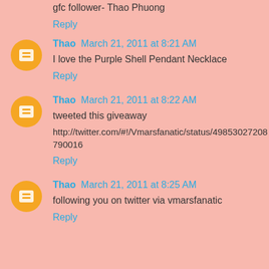gfc follower- Thao Phuong
Reply
Thao  March 21, 2011 at 8:21 AM
I love the Purple Shell Pendant Necklace
Reply
Thao  March 21, 2011 at 8:22 AM
tweeted this giveaway
http://twitter.com/#!/Vmarsfanatic/status/49853027208790016
Reply
Thao  March 21, 2011 at 8:25 AM
following you on twitter via vmarsfanatic
Reply